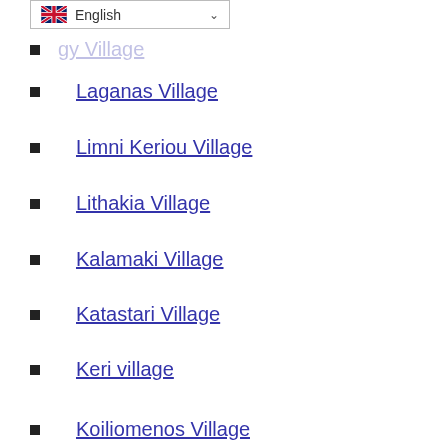Laganas Village
Limni Keriou Village
Lithakia Village
Kalamaki Village
Katastari Village
Keri village
Koiliomenos Village
Kalipado Village
Maries Village
Mouzaki Village
Machairado Village